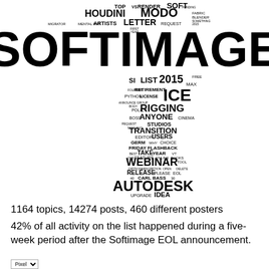[Figure (infographic): Word cloud in the shape of a cross/vertical bar. Large text at top: SOFTIMAGE. Words include: TOP, RENDER, SOFT, HOUDINI, MODO, FABRIC, BLENDER, MENTAL RAY, MIGRATOR, ARTISTS, LETTER, REQUEST, FIRST YEAR, SI, LIST, 2015, FREE, MAX, RETIREMENT, PYTHON, LICENSE, ICE, ANNOUNCE GROUP, BODY, POLICY, RIGGING, BOSS, ANYONE, CINEMA, REQUEST, MAILING, STUDIOS, TRANSITION, EDITOR, USERS, GERM, WHY, CHOICE, FRIDAY, FLASHBACK, TAKE YEAR, VT, ONE, FEATURE, ONLINE, BOOKS, WEBINAR, TOOL, OPTION, ABSORPTION, OPEN, DELETE, RELEASE, EOL, 40, CARL BASS, 30, AUTODESK, UPGRADE, IDEA, QUESTION, GEAR, HELP, USE, REALLY, OPEN, HUMANIZE, LAST, ESCAPE, BEHAVIOR, NEW, SABROLOGY, XSI, RENDERING]
1164 topics, 14274 posts, 460 different posters
42% of all activity on the list happened during a five-week period after the Softimage EOL announcement.